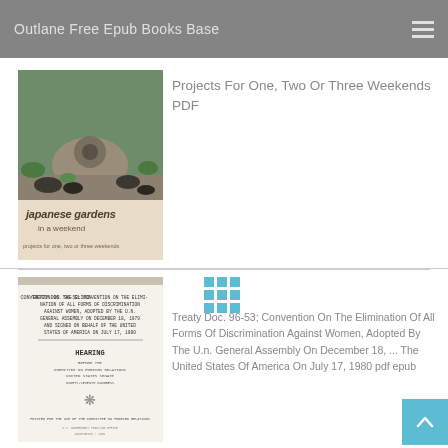Outlane Free Epub Books Base
[Figure (illustration): Book cover for Japanese Gardens in a weekend - shows garden with stone lantern, rocks and plants, cream/beige lower section with text 'projects for one, two or three weekends']
Projects For One, Two Or Three Weekends PDF
[Figure (illustration): Book cover for Treaty Doc. 96-53 - government document with typewritten text including 'TREATY DOC. 96-53: CONVENTION ON THE ELIMINATION OF ALL FORMS OF DISCRIMINATION AGAINST WOMEN, ADOPTED BY THE U.N. GENERAL ASSEMBLY ON DECEMBER 18, 1979 AND SIGNED ON BEHALF OF THE UNITED STATES OF AMERICA ON JULY 17, 1980' and 'HEARING' below with committee details]
Treaty Doc. 96-53; Convention On The Elimination Of All Forms Of Discrimination Against Women, Adopted By The U.n. General Assembly On December 18, ... The United States Of America On July 17, 1980 pdf epub